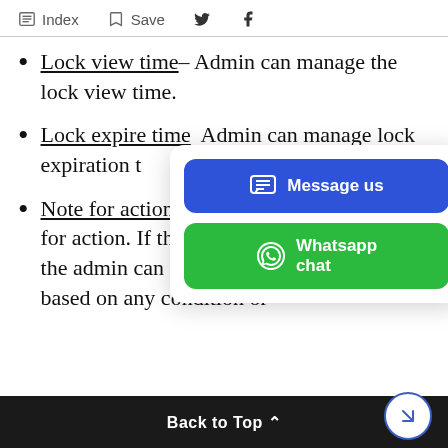Index  Save
Lock view time – Admin can manage the lock view time.
Lock expire time – Admin can manage lock expiration t…
Note for action – … for action. If the … the admin can a… based on any condition or …
[Figure (screenshot): Popup overlay with two buttons: 'Message us' (blue) and 'Whatsapp chat' (green)]
Back to Top ^